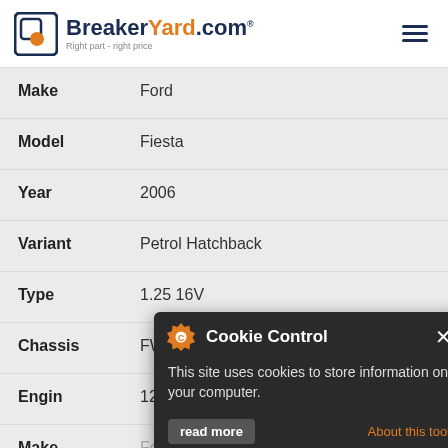BreakerYard.com - Right part - right price
| Field | Value |
| --- | --- |
| Make | Ford |
| Model | Fiesta |
| Year | 2006 |
| Variant | Petrol Hatchback |
| Type | 1.25 16V |
| Chassis | FWD V JD_,JH_ |
| Engine | 1242cc 55KW 75HP FUJA;FUJB |
| Make | Ford |
| Model | Fiesta |
| Year | 2006 |
[Figure (screenshot): Cookie Control popup overlay with dark background, gear/cookie icon, title 'Cookie Control', close button, body text 'This site uses cookies to store information on your computer.', 'About this tool' link in orange, and 'read more' button]